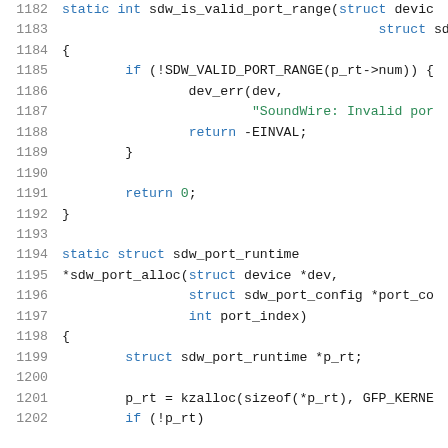[Figure (screenshot): Source code listing in C, lines 1182-1202, showing sdw_is_valid_port_range and sdw_port_alloc functions with syntax highlighting (blue keywords, green strings).]